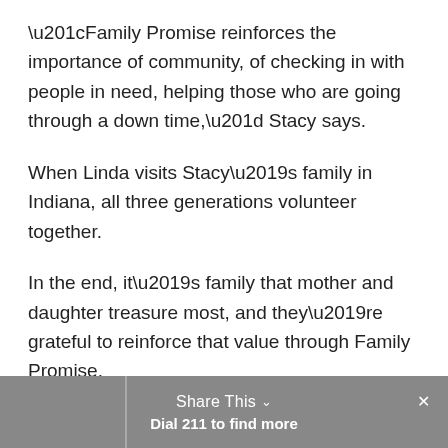“Family Promise reinforces the importance of community, of checking in with people in need, helping those who are going through a down time,” Stacy says.
When Linda visits Stacy’s family in Indiana, all three generations volunteer together.
In the end, it’s family that mother and daughter treasure most, and they’re grateful to reinforce that value through Family Promise.
“They say it takes a village to raise a child,” says Linda. “That village is full of families.”
Share This  ∨     Dial 211 to find more